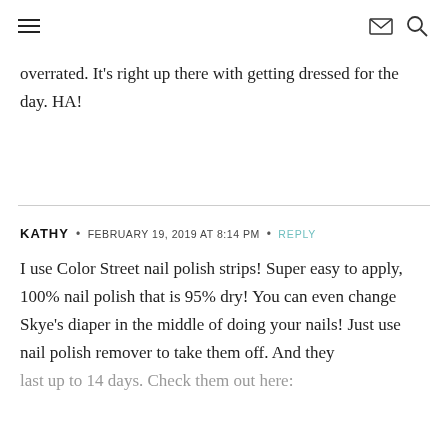≡  ✉ 🔍
overrated. It's right up there with getting dressed for the day. HA!
KATHY • FEBRUARY 19, 2019 AT 8:14 PM • REPLY
I use Color Street nail polish strips! Super easy to apply, 100% nail polish that is 95% dry! You can even change Skye's diaper in the middle of doing your nails! Just use nail polish remover to take them off. And they last up to 14 days. Check them out here: